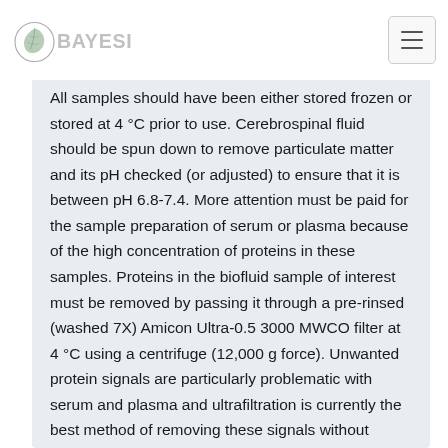BAYESIL
All samples should have been either stored frozen or stored at 4 °C prior to use. Cerebrospinal fluid should be spun down to remove particulate matter and its pH checked (or adjusted) to ensure that it is between pH 6.8-7.4. More attention must be paid for the sample preparation of serum or plasma because of the high concentration of proteins in these samples. Proteins in the biofluid sample of interest must be removed by passing it through a pre-rinsed (washed 7X) Amicon Ultra-0.5 3000 MWCO filter at 4 °C using a centrifuge (12,000 g force). Unwanted protein signals are particularly problematic with serum and plasma and ultrafiltration is currently the best method of removing these signals without altering the chemical